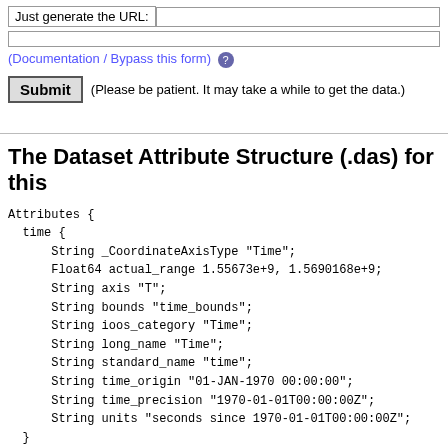Just generate the URL: [input field]
(Documentation / Bypass this form) ?
Submit (Please be patient. It may take a while to get the data.)
The Dataset Attribute Structure (.das) for this
Attributes {
  time {
      String _CoordinateAxisType "Time";
      Float64 actual_range 1.55673e+9, 1.5690168e+9;
      String axis "T";
      String bounds "time_bounds";
      String ioos_category "Time";
      String long_name "Time";
      String standard_name "time";
      String time_origin "01-JAN-1970 00:00:00";
      String time_precision "1970-01-01T00:00:00Z";
      String units "seconds since 1970-01-01T00:00:00Z";
  }
}